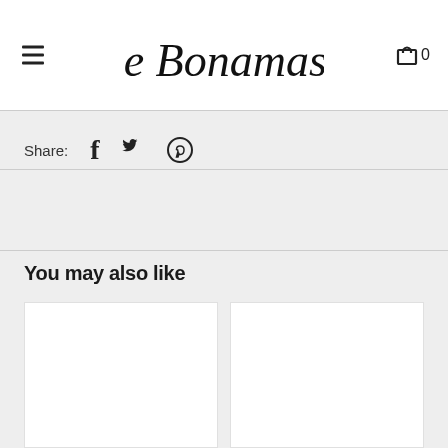Joe Bonamassa
Share:
You may also like
[Figure (other): Two empty product card placeholders in a grid layout]